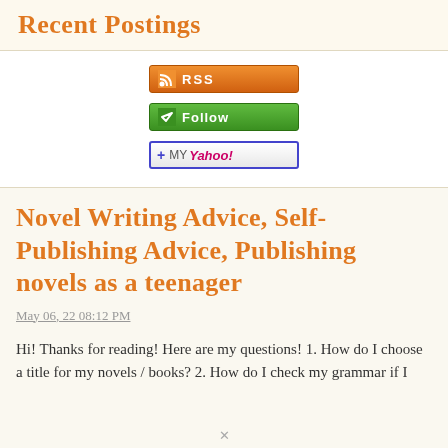Recent Postings
[Figure (other): RSS feed button - orange gradient button with RSS icon and text 'RSS']
[Figure (other): Follow button - green gradient button with follow icon and text 'Follow']
[Figure (other): Add to My Yahoo! button - white button with blue border, plus sign, and Yahoo! branding]
Novel Writing Advice, Self-Publishing Advice, Publishing novels as a teenager
May 06, 22 08:12 PM
Hi! Thanks for reading! Here are my questions! 1. How do I choose a title for my novels / books? 2. How do I check my grammar if I self-publish my novels?